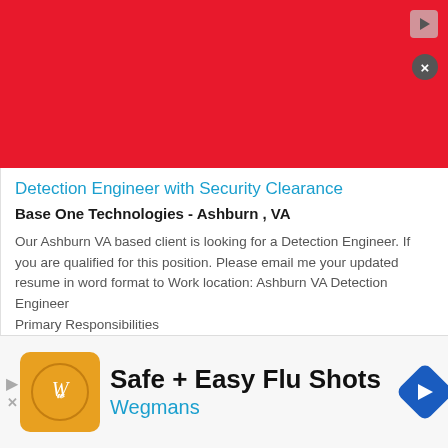[Figure (other): Red advertisement banner at top of page with play button icon and close button]
Detection Engineer with Security Clearance
Base One Technologies - Ashburn , VA
Our Ashburn VA based client is looking for a Detection Engineer. If you are qualified for this position. Please email me your updated resume in word format to Work location: Ashburn VA Detection Engineer
Primary Responsibilities
• Identify gaps in malicious activity detection
This site uses cookies and other similar technologies to provide site functionality, analyze traffic and usage, and
[Figure (other): Bottom advertisement banner: Safe + Easy Flu Shots - Wegmans, with orange logo and blue navigation icon]